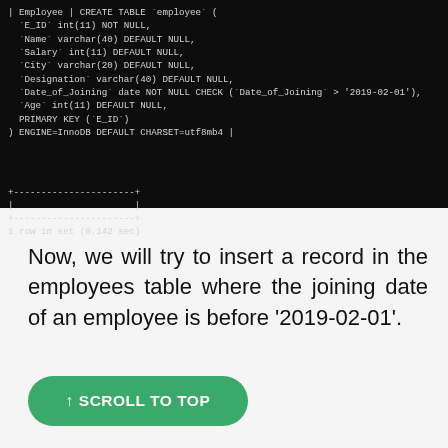[Figure (screenshot): Terminal/MySQL output showing CREATE TABLE employee SQL statement with columns E_ID, Name, Salary, City, Designation, Date_of_Joining, Age, PRIMARY KEY, ENGINE=InnoDB, and '1 row in set (0.142 sec)' result with separator lines]
Now, we will try to insert a record in the employees table where the joining date of an employee is before '2019-02-01'.